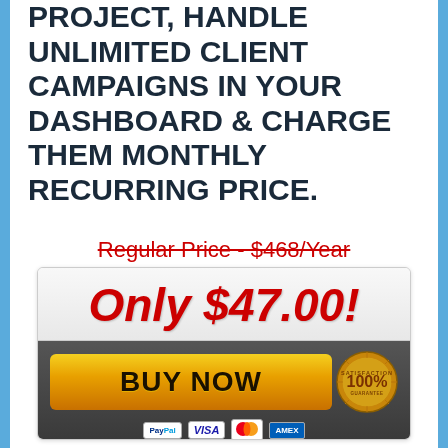PROJECT, HANDLE UNLIMITED CLIENT CAMPAIGNS IN YOUR DASHBOARD & CHARGE THEM MONTHLY RECURRING PRICE.
Regular Price - $468/Year
[Figure (infographic): Buy Now button widget showing price 'Only $47.00!' with a golden BUY NOW button, satisfaction guarantee badge, and payment logos (PayPal, Visa, Mastercard, Amex). Powered by JVZoo.com.]